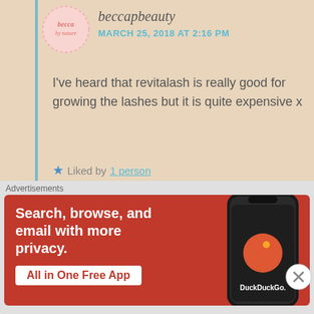beccapbeauty
MARCH 25, 2018 AT 2:16 PM
I've heard that revitalash is really good for growing the lashes but it is quite expensive x
★ Liked by 1 person
Swati Awana
MARCH 28, 2018 AT 1:50 PM
Oh! Anyways.. Thanks for sharing this 🙂 🙂 💕 ❤️
Advertisements
[Figure (infographic): DuckDuckGo advertisement banner with orange background, text 'Search, browse, and email with more privacy. All in One Free App' and a phone graphic showing the DuckDuckGo app.]